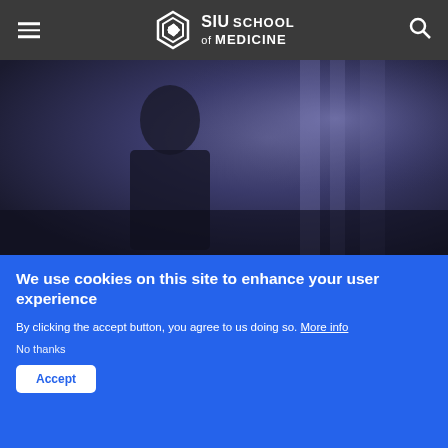SIU SCHOOL of MEDICINE
[Figure (photo): Blurry dark blue-toned image showing a person in low light environment, possibly a lab or clinical setting]
We use cookies on this site to enhance your user experience
By clicking the accept button, you agree to us doing so. More info
No thanks
Accept